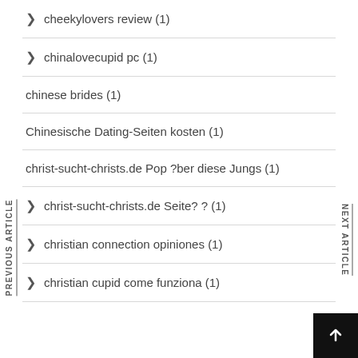cheekylovers review (1)
chinalovecupid pc (1)
chinese brides (1)
Chinesische Dating-Seiten kosten (1)
christ-sucht-christs.de Pop ?ber diese Jungs (1)
christ-sucht-christs.de Seite? ? (1)
christian connection opiniones (1)
christian cupid come funziona (1)